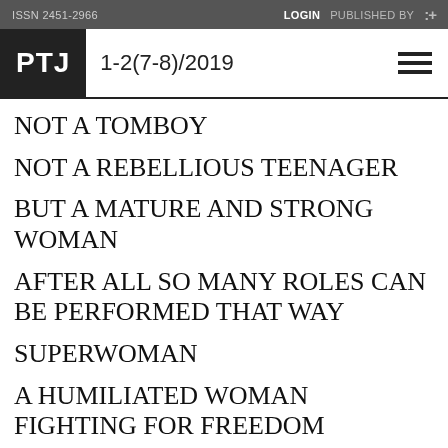ISSN 2451-2966   LOGIN   PUBLISHED BY   :+
PTJ   1-2(7-8)/2019
NOT A TOMBOY
NOT A REBELLIOUS TEENAGER
BUT A MATURE AND STRONG WOMAN
AFTER ALL SO MANY ROLES CAN BE PERFORMED THAT WAY
SUPERWOMAN
A HUMILIATED WOMAN FIGHTING FOR FREEDOM
FIFTH-YEAR FEMALE STUDENT